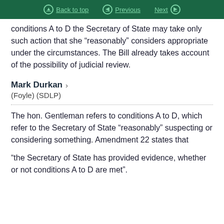Back to top | Previous | Next
conditions A to D the Secretary of State may take only such action that she “reasonably” considers appropriate under the circumstances. The Bill already takes account of the possibility of judicial review.
Mark Durkan ›
(Foyle) (SDLP)
The hon. Gentleman refers to conditions A to D, which refer to the Secretary of State “reasonably” suspecting or considering something. Amendment 22 states that
“the Secretary of State has provided evidence, whether or not conditions A to D are met”.